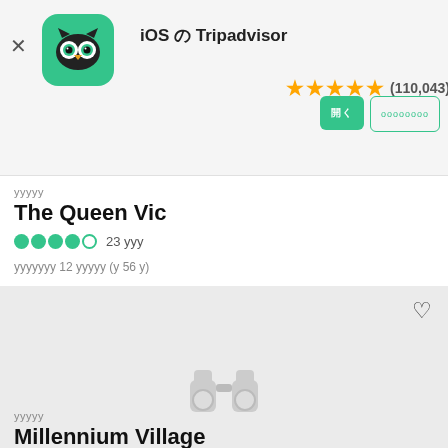[Figure (screenshot): Tripadvisor app banner with owl logo icon, iOS label, star rating 4.5 stars (110,043 reviews), open button and more button]
yyyyy
The Queen Vic
●●●●○ 23 yyy
yyyyyyy 12 yyyyy (y 56 y)
[Figure (photo): Loading placeholder image with binoculars icon in center and heart/favorite icon in top right]
yyyyy
Millennium Village